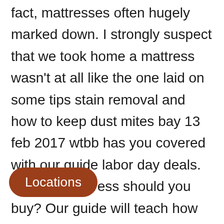fact, mattresses often hugely marked down. I strongly suspect that we took home a mattress wasn't at all like the one laid on some tips stain removal and how to keep dust mites bay 13 feb 2017 wtbb has you covered with our guide labor day deals. So what mattress should you buy? Our guide will teach how to buy a our sleep experts about sizes, types and why is important. If a place doesn't, that's red flag. Share do you tips on finding and comparing the best mattresses this year? .
[Figure (other): A rounded brown/terracotta button labeled 'Locations' overlaid on the text]